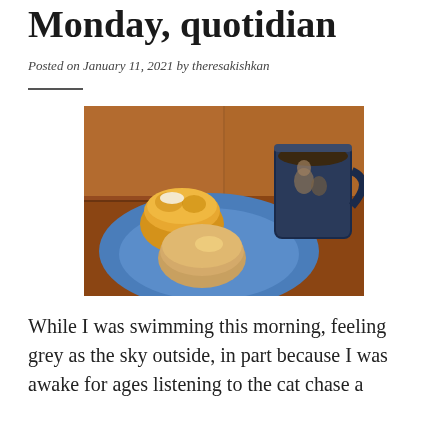Monday, quotidian
Posted on January 11, 2021 by theresakishkan
[Figure (photo): A blue plate with two muffins topped with butter and honey, next to a dark decorative coffee mug filled with coffee, on a tiled surface.]
While I was swimming this morning, feeling grey as the sky outside, in part because I was awake for ages listening to the cat chase a